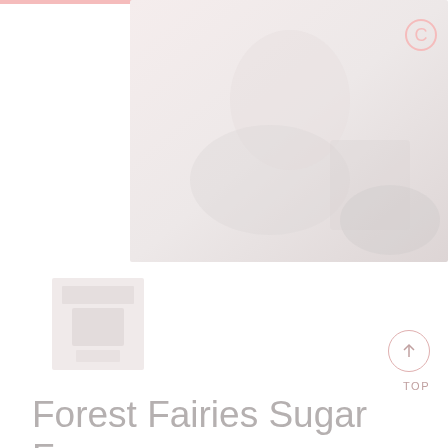[Figure (photo): Faded/washed-out product lifestyle photo showing ice cream or frozen dessert in a white/pastel setting, very light pink tones]
[Figure (photo): Small thumbnail image of a product package, light/washed out appearance]
Forest Fairies Sugar Free Coconut Ice 60g